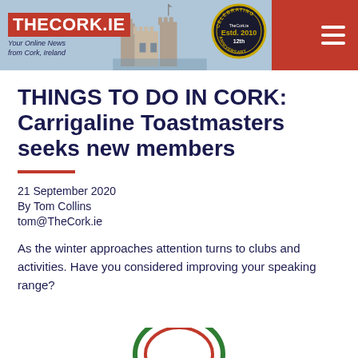[Figure (screenshot): TheCork.ie website header banner with red background, logo, castle image, and 12th anniversary badge. Hamburger menu icon on the right.]
THINGS TO DO IN CORK: Carrigaline Toastmasters seeks new members
21 September 2020
By Tom Collins
tom@TheCork.ie
As the winter approaches attention turns to clubs and activities. Have you considered improving your speaking range?
[Figure (logo): Partial Toastmasters logo visible at bottom of page]